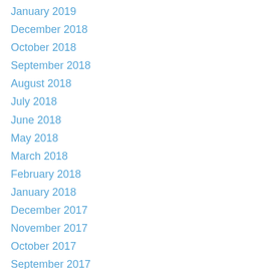January 2019
December 2018
October 2018
September 2018
August 2018
July 2018
June 2018
May 2018
March 2018
February 2018
January 2018
December 2017
November 2017
October 2017
September 2017
August 2017
July 2017
June 2017
May 2017
April 2017